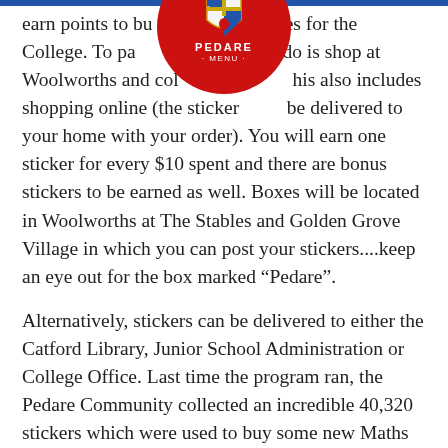[Figure (logo): Pedare College circular red logo with shield crest and PEDARE MENU text]
earn points to buy resources for the College. To participate, all you do is shop at Woolworths and collect stickers. This also includes shopping online (the stickers will be delivered to your home with your order). You will earn one sticker for every $10 spent and there are bonus stickers to be earned as well. Boxes will be located in Woolworths at The Stables and Golden Grove Village in which you can post your stickers....keep an eye out for the box marked “Pedare”.
Alternatively, stickers can be delivered to either the Catford Library, Junior School Administration or College Office. Last time the program ran, the Pedare Community collected an incredible 40,320 stickers which were used to buy some new Maths equipment. It would be amazing to equal or even surpass that total this year!
Thank you in advance for your support with this program.